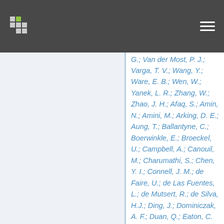[website header with logo and navigation]
G.; Van der Most, P. J.; Varga, T. V.; Wang, Y.; Ware, E. B.; Wen, W.; Yanek, L. R.; Zhang, W.; Zhao, J. H.; Afaq, S.; Amin, N.; Amini, M.; Arking, D. E.; Aung, T.; Ballantyne, C.; Boerwinkle, E.; Broeckel, U.; Campbell, A.; Canouil, M.; Charumathi, S.; Chen, Y. I.; Connell, J. M.; de Faire, U.; de Las Fuentes, L.; de Mutsert, R.; de Silva, H.J.; Ding, J.; Dominiczak, A. F.; Duan, Q.; Eaton, C.